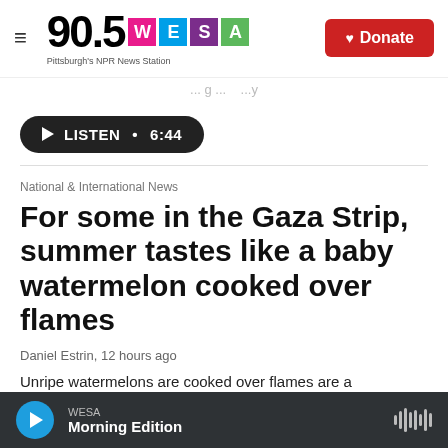90.5 WESA Pittsburgh's NPR News Station | Donate
LISTEN • 6:44
National & International News
For some in the Gaza Strip, summer tastes like a baby watermelon cooked over flames
Daniel Estrin, 12 hours ago
Unripe watermelons are cooked over flames are a
WESA Morning Edition